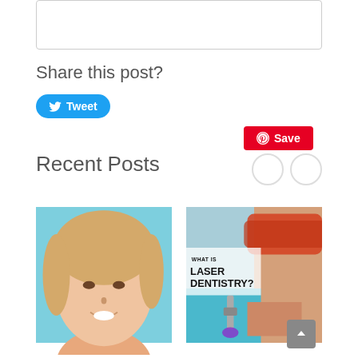[Figure (other): Partial white box with border at top of page (comment/input area, partially visible)]
Share this post?
[Figure (other): Tweet button (blue rounded button with Twitter bird icon) and Save button (red button with Pinterest icon)]
Recent Posts
[Figure (photo): Photo of a smiling young woman with blonde hair against a light blue background]
[Figure (photo): Image showing laser dentistry procedure with text overlay: WHAT IS LASER DENTISTRY? Person wearing orange safety glasses, dental professional in blue gloves with laser tool]